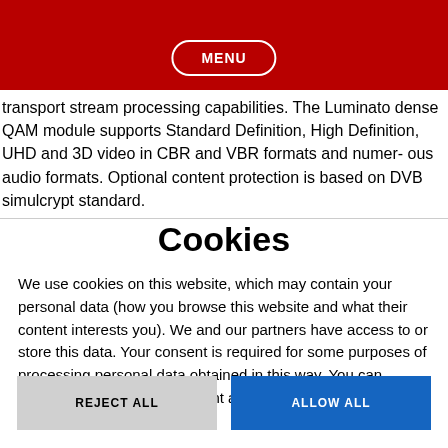MENU
transport stream processing capabilities. The Luminato dense QAM module supports Standard Definition, High Definition, UHD and 3D video in CBR and VBR formats and numer- ous audio formats. Optional content protection is based on DVB simulcrypt standard.
Cookies
We use cookies on this website, which may contain your personal data (how you browse this website and what their content interests you). We and our partners have access to or store this data. Your consent is required for some purposes of processing personal data obtained in this way. You can change or revoke your consent at any time in the footer of this site.
REJECT ALL
ALLOW ALL